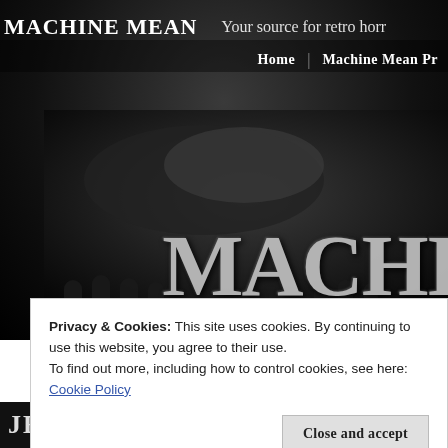MACHINE MEAN
Your source for retro horr
Home | Machine Mean Pr
[Figure (photo): Dark black and white horror-themed banner image showing mechanical/industrial elements and grasping hands with large bold text 'MACHI' visible]
Privacy & Cookies: This site uses cookies. By continuing to use this website, you agree to their use.
To find out more, including how to control cookies, see here: Cookie Policy
Close and accept
JEEPERS CREEPERS (2001)